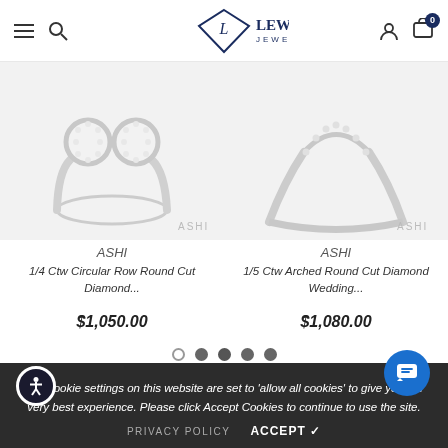Lewis Jewelers
[Figure (photo): Silver diamond ring with circular infinity-style design, shown on white background with ASHI watermark]
ASHI
1/4 Ctw Circular Row Round Cut Diamond...
$1,050.00
[Figure (photo): Silver arched diamond wedding band ring on white background with ASHI watermark]
ASHI
1/5 Ctw Arched Round Cut Diamond Wedding...
$1,080.00
The cookie settings on this website are set to 'allow all cookies' to give you the very best experience. Please click Accept Cookies to continue to use the site.
PRIVACY POLICY   ACCEPT ✓